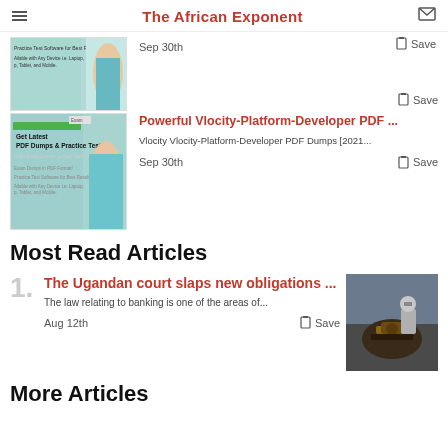The African Exponent
[Figure (photo): Advertisement thumbnail showing PDF Dumps & Practice Test promotional image with a person holding books]
Sep 30th
Save
Powerful Vlocity-Platform-Developer PDF ...
Vlocity Vlocity-Platform-Developer PDF Dumps [2021...
Sep 30th
Save
Most Read Articles
1.
The Ugandan court slaps new obligations ...
The law relating to banking is one of the areas of...
[Figure (photo): Photo of a judge's gavel on a dark surface]
Aug 12th
Save
More Articles